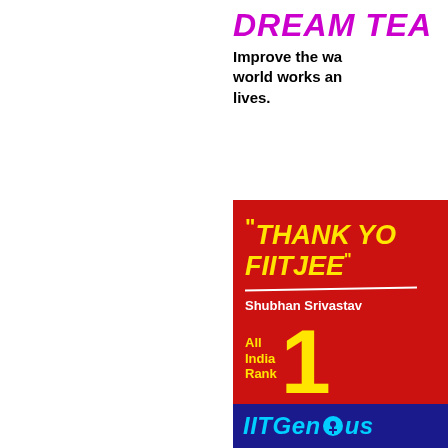DREAM TEA
Improve the way the world works and lives.
[Figure (infographic): Red promotional card for FIITJEE with quote 'THANK YOU FIITJEE', student name Shubhan Srivastava, All India Rank 1 in JEE Main 2019, and IITGenius branding bar at the bottom]